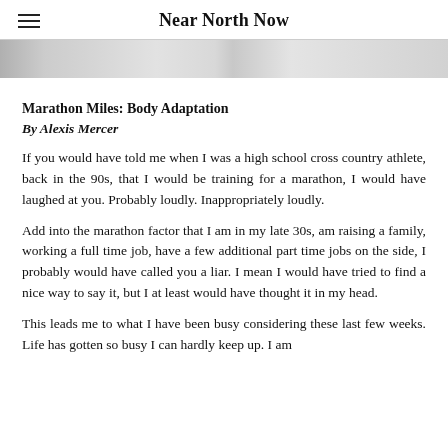Near North Now
[Figure (photo): Partial photo strip visible at top of article content area]
Marathon Miles: Body Adaptation
By Alexis Mercer
If you would have told me when I was a high school cross country athlete, back in the 90s, that I would be training for a marathon, I would have laughed at you. Probably loudly. Inappropriately loudly.
Add into the marathon factor that I am in my late 30s, am raising a family, working a full time job, have a few additional part time jobs on the side, I probably would have called you a liar. I mean I would have tried to find a nice way to say it, but I at least would have thought it in my head.
This leads me to what I have been busy considering these last few weeks. Life has gotten so busy I can hardly keep up. I am